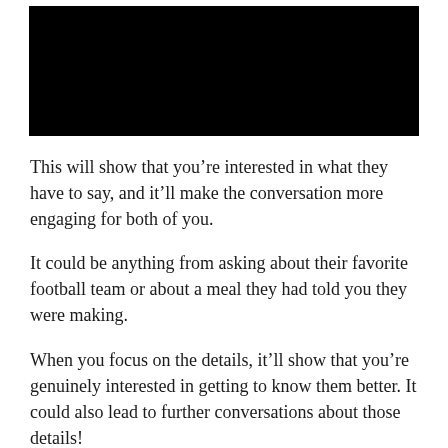[Figure (photo): Black rectangular image at the top of the page]
This will show that you’re interested in what they have to say, and it’ll make the conversation more engaging for both of you.
It could be anything from asking about their favorite football team or about a meal they had told you they were making.
When you focus on the details, it’ll show that you’re genuinely interested in getting to know them better. It could also lead to further conversations about those details!
The more engaged you are in the conversation, the